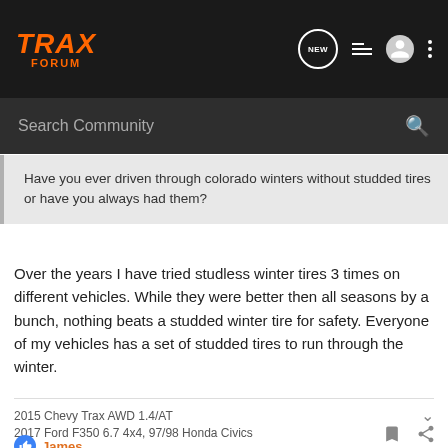TRAX FORUM
Search Community
Have you ever driven through colorado winters without studded tires or have you always had them?
Over the years I have tried studless winter tires 3 times on different vehicles. While they were better then all seasons by a bunch, nothing beats a studded winter tire for safety. Everyone of my vehicles has a set of studded tires to run through the winter.
2015 Chevy Trax AWD 1.4/AT
2017 Ford F350 6.7 4x4, 97/98 Honda Civics
James